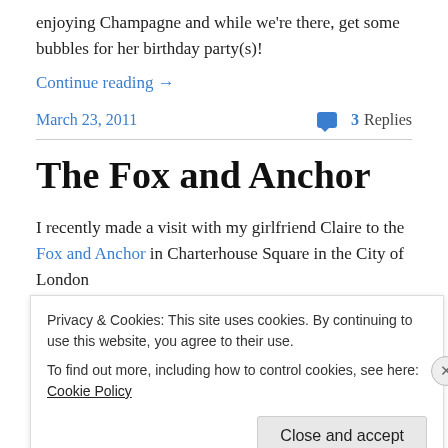enjoying Champagne and while we're there, get some bubbles for her birthday party(s)!
Continue reading →
March 23, 2011
💬 3 Replies
The Fox and Anchor
I recently made a visit with my girlfriend Claire to the Fox and Anchor in Charterhouse Square in the City of London
Privacy & Cookies: This site uses cookies. By continuing to use this website, you agree to their use.
To find out more, including how to control cookies, see here: Cookie Policy
Close and accept